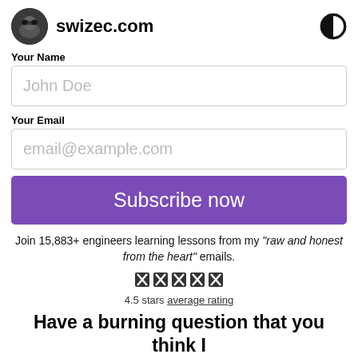swizec.com
Your Name
John Doe
Your Email
email@example.com
Subscribe now
Join 15,883+ engineers learning lessons from my "raw and honest from the heart" emails.
[Figure (other): Five star rating icons]
4.5 stars average rating
Have a burning question that you think I